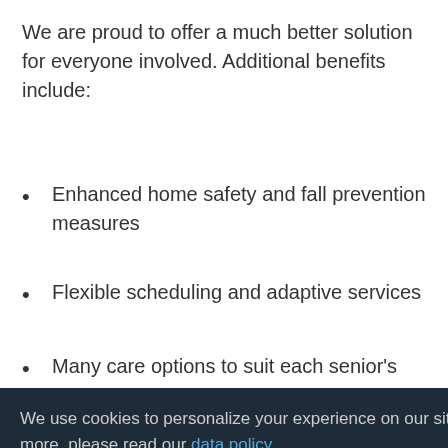We are proud to offer a much better solution for everyone involved. Additional benefits include:
Enhanced home safety and fall prevention measures
Flexible scheduling and adaptive services
Many care options to suit each senior's
We use cookies to personalize your experience on our site. To find out more, please read our data policy.
OK
Providing Home Care Throughout the